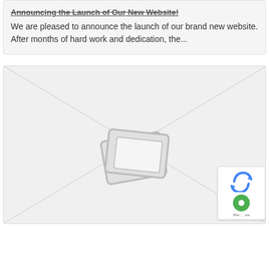Announcing the Launch of Our New Website!
We are pleased to announce the launch of our brand new website. After months of hard work and dedication, the...
[Figure (photo): Image placeholder showing a broken/missing image icon with diagonal lines across a light gray box, and a reCAPTCHA badge overlay in the bottom-right corner.]